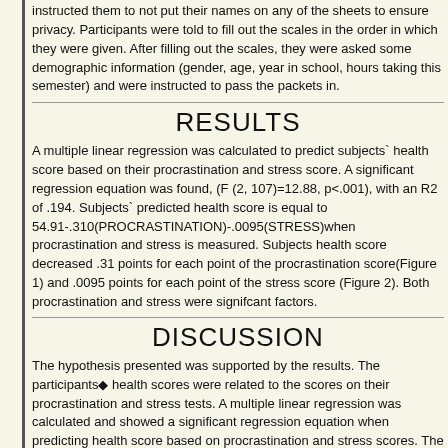instructed them to not put their names on any of the sheets to ensure privacy. Participants were told to fill out the scales in the order in which they were given. After filling out the scales, they were asked some demographic information (gender, age, year in school, hours taking this semester) and were instructed to pass the packets in.
RESULTS
A multiple linear regression was calculated to predict subjects` health score based on their procrastination and stress score. A significant regression equation was found, (F (2, 107)=12.88, p<.001), with an R2 of .194. Subjects` predicted health score is equal to 54.91-.310(PROCRASTINATION)-.0095(STRESS)when procrastination and stress is measured. Subjects health score decreased .31 points for each point of the procrastination score(Figure 1) and .0095 points for each point of the stress score (Figure 2). Both procrastination and stress were signifcant factors.
DISCUSSION
The hypothesis presented was supported by the results. The participants◆ health scores were related to the scores on their procrastination and stress tests. A multiple linear regression was calculated and showed a significant regression equation when predicting health score based on procrastination and stress scores. The higher the procrastination and health score is, the lower the health score is for the individual. These findings were consistent with previous literature. There were limitations in this study. The first limitation was the participant. It would be hard to get an honest